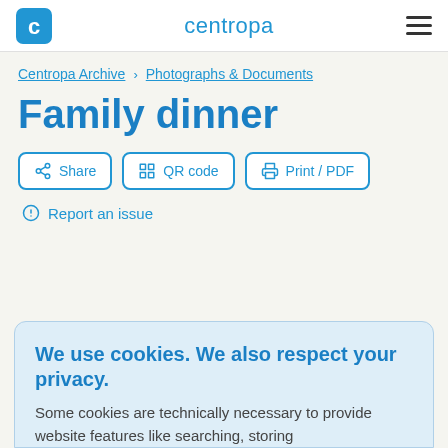centropa
Centropa Archive > Photographs & Documents
Family dinner
Share | QR code | Print / PDF
Report an issue
We use cookies. We also respect your privacy.
Some cookies are technically necessary to provide website features like searching, storing